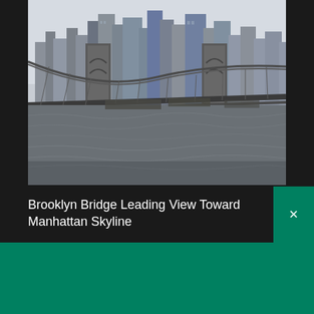[Figure (photo): Grayscale photo of the Brooklyn Bridge with Manhattan skyline in the background, taken from water level showing the bridge cables and towers prominently.]
Brooklyn Bridge Leading View Toward Manhattan Skyline
[Figure (logo): Shopify logo with shopping bag icon and italic 'shopify' wordmark in white on green background]
Need an online store for your business?
Start free trial